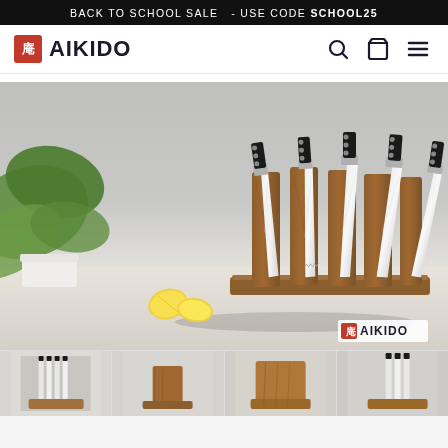BACK TO SCHOOL SALE  - USE CODE SCHOOL25
[Figure (logo): Aikido brand logo with Japanese kanji in red square and AIKIDO text, plus search, cart, and menu icons]
[Figure (photo): Five Japanese kitchen knives with black handles and Damascus steel blades displayed on a wooden magnetic knife block stand, with a lemon and green plant in the background, Aikido logo in bottom right]
[Figure (photo): Thumbnail 1: Multiple knives displayed against white background]
[Figure (photo): Thumbnail 2: Wooden knife block stand, side view]
[Figure (photo): Thumbnail 3: Wooden knife block close-up]
[Figure (photo): Thumbnail 4: Partial view of knives on block]